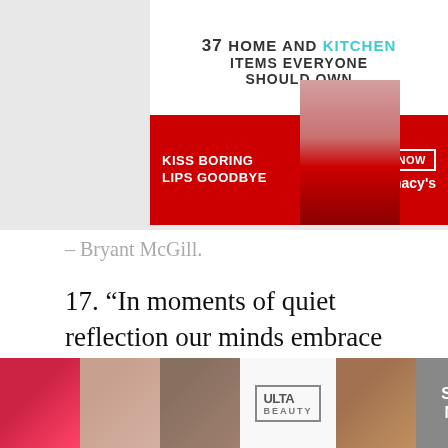[Figure (photo): Top advertisement banner: '37 HOME AND KITCHEN ITEMS EVERYONE SHOULD OWN' with Macy's lipstick cosmetics ad 'KISS BORING LIPS GOODBYE' SHOP NOW]
– Bryant McGill.
17. “In moments of quiet reflection our minds embrace the sea that we have crossed.”
– Holmes.
18. “Each person you meet is an aspect of yourself, clamoring for love.”
– Eric Michael Leventhal.
[Figure (photo): Bottom ULTA beauty advertisement with makeup product images and SHOP NOW button, with CLOSE button overlay]